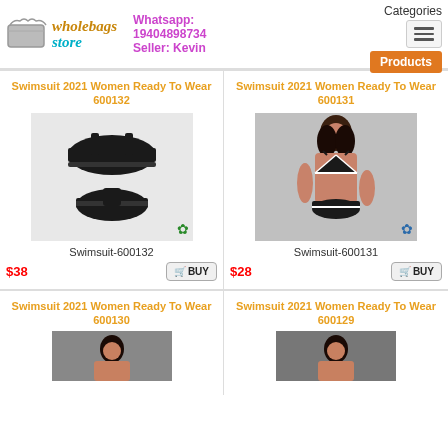[Figure (logo): WholeBags Store logo with bag icon, teal and orange colors]
Whatsapp: 19404898734 Seller: Kevin
Categories
Products
Swimsuit 2021 Women Ready To Wear 600132
[Figure (photo): Black Calvin Klein sports bra and thong set on white background]
Swimsuit-600132
$38
Swimsuit 2021 Women Ready To Wear 600131
[Figure (photo): Woman wearing black Calvin Klein triangle bikini top and thong bottoms with white trim]
Swimsuit-600131
$28
Swimsuit 2021 Women Ready To Wear 600130
Swimsuit 2021 Women Ready To Wear 600129